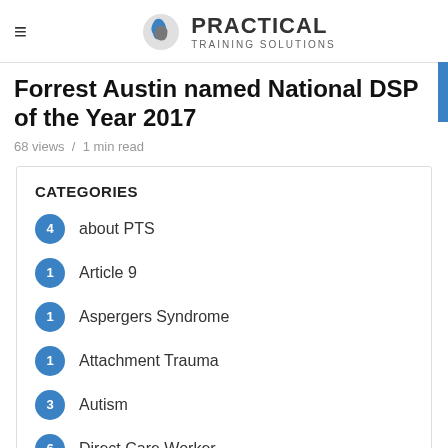PRACTICAL TRAINING SOLUTIONS
Forrest Austin named National DSP of the Year 2017
68 views / 1 min read
CATEGORIES
4 about PTS
1 Article 9
1 Aspergers Syndrome
1 Attachment Trauma
3 Autism
6 Direct Care Worker
3 Direct Support Professionals
4 Documents